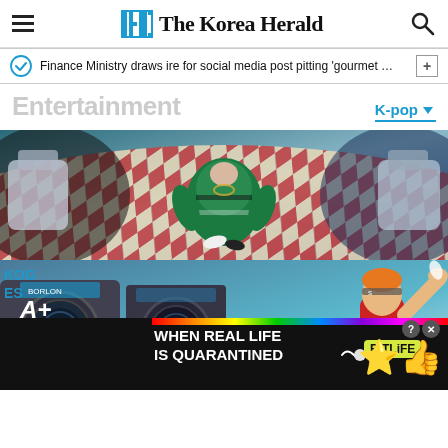The Korea Herald
Finance Ministry draws ire for social media post pitting 'gourmet …
Entertainment
K-pop ▾
[Figure (photo): K-pop music video still: performer in green hockey jersey standing on red-and-white checkerboard floor, viewed from above, with salon chairs on sides]
[Figure (photo): K-pop music video still: performer with orange hair and red shirt in a laundromat setting, arm raised, with large washing machines displaying 'A+' label]
[Figure (photo): Advertisement banner: BitLife mobile game ad with text 'WHEN REAL LIFE IS QUARANTINED' on black background with rainbow strip and cartoon emoji characters]